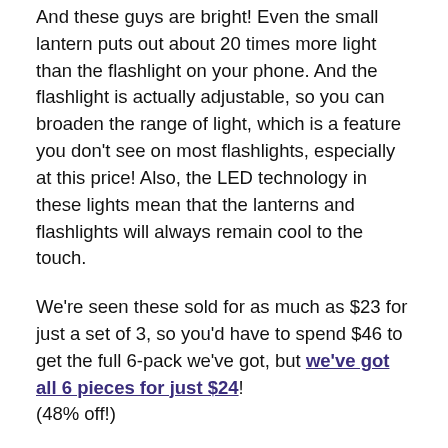And these guys are bright! Even the small lantern puts out about 20 times more light than the flashlight on your phone. And the flashlight is actually adjustable, so you can broaden the range of light, which is a feature you don't see on most flashlights, especially at this price! Also, the LED technology in these lights mean that the lanterns and flashlights will always remain cool to the touch.
We're seen these sold for as much as $23 for just a set of 3, so you'd have to spend $46 to get the full 6-pack we've got, but we've got all 6 pieces for just $24! (48% off!)
Pursonic USB Rechargeable Handheld Vacuum Cleaner